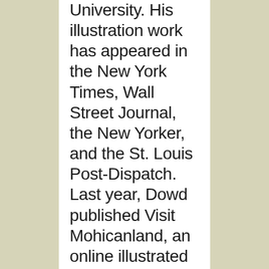University. His illustration work has appeared in the New York Times, Wall Street Journal, the New Yorker, and the St. Louis Post-Dispatch. Last year, Dowd published Visit Mohicanland, an online illustrated novel, at http://visit-mohicanland.